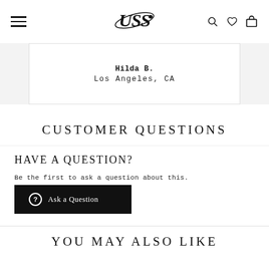USS (logo) with navigation icons
Hilda B.
Los Angeles, CA
CUSTOMER QUESTIONS
HAVE A QUESTION?
Be the first to ask a question about this.
Ask a Question
YOU MAY ALSO LIKE